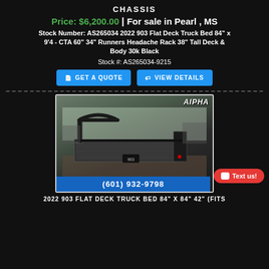CHASSIS
Price: $6,200.00 | For sale in Pearl , MS
Stock Number: AS265034 2022 903 Flat Deck Truck Bed 84" x 9'4 - CTA 60" 34" Runners Headache Rack 38" Tall Deck & Body 30k Black
Stock #: AS265034-9215
[Figure (photo): Black 903 flat deck truck bed with headache rack, shown in outdoor dealer lot. Alpha logo visible in upper right corner. Phone number (601) 932-9798 shown in blue bar at bottom. Red 'Text us!' button overlay.]
2022 903 FLAT DECK TRUCK BED 84" X 84" 42" (FITS